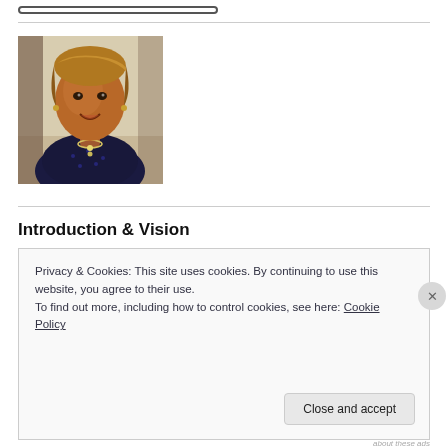[Figure (photo): Partial view of a rounded rectangle button at top of page]
[Figure (photo): Portrait photo of a woman with short golden-brown hair, wearing a dark blue dotted top with a necklace, smiling, indoors]
Introduction & Vision
Privacy & Cookies: This site uses cookies. By continuing to use this website, you agree to their use.
To find out more, including how to control cookies, see here: Cookie Policy
Close and accept